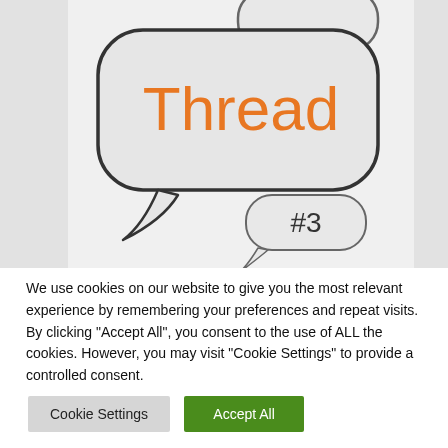[Figure (illustration): Speech bubbles illustration showing 'Thread' in orange text and '#3' in a smaller bubble below it, on a light gray background.]
Tech News
Community
We use cookies on our website to give you the most relevant experience by remembering your preferences and repeat visits. By clicking "Accept All", you consent to the use of ALL the cookies. However, you may visit "Cookie Settings" to provide a controlled consent.
Cookie Settings | Accept All